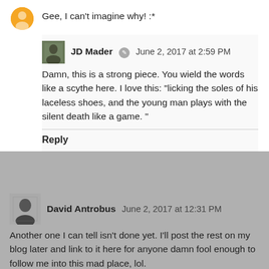Gee, I can't imagine why! :*
JD Mader  June 2, 2017 at 2:59 PM
Damn, this is a strong piece. You wield the words like a scythe here. I love this: "licking the soles of his laceless shoes, and the young man plays with the silent death like a game. "
Reply
David Antrobus  June 2, 2017 at 12:31 PM
Another one I can tell isn't done yet. I'll post the rest on my blog later and link to it here for anyone damn fool enough to follow me into this mad place, lol.
Are they fields or backdrops? Cornstalks, watercolor hills, the raw faraway throats of the assembling hounds.